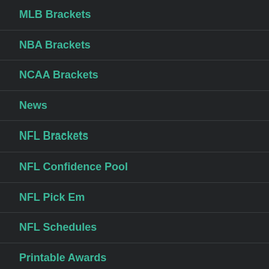MLB Brackets
NBA Brackets
NCAA Brackets
News
NFL Brackets
NFL Confidence Pool
NFL Pick Em
NFL Schedules
Printable Awards
Tournament Brackets